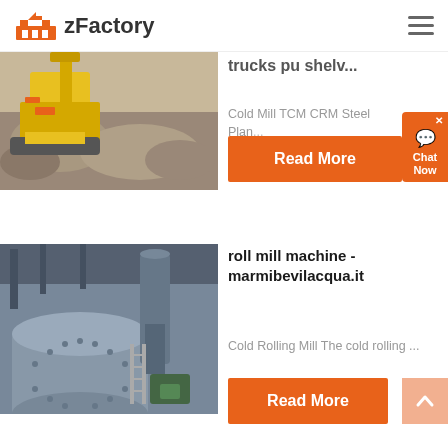zFactory
[Figure (photo): Industrial crusher/construction machine with yellow equipment and piles of crushed rock/gravel]
trucks pu shelv...
Cold Mill TCM CRM Steel Plan...
Read More
[Figure (photo): Industrial ball mill machine inside factory building with large cylindrical drum and piping]
roll mill machine - marmibevilacqua.it
Cold Rolling Mill The cold rolling ...
Read More